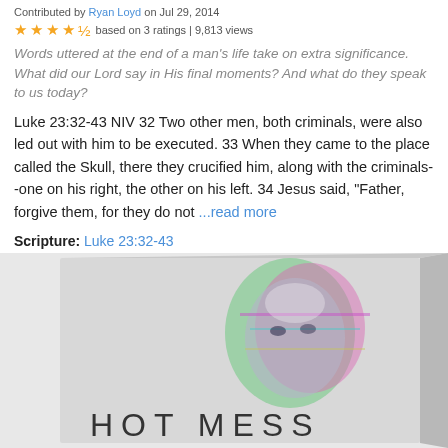Contributed by Ryan Loyd on Jul 29, 2014
★★★★½ based on 3 ratings | 9,813 views
Words uttered at the end of a man's life take on extra significance. What did our Lord say in His final moments? And what do they speak to us today?
Luke 23:32-43 NIV 32 Two other men, both criminals, were also led out with him to be executed. 33 When they came to the place called the Skull, there they crucified him, along with the criminals--one on his right, the other on his left. 34 Jesus said, "Father, forgive them, for they do not ...read more
Scripture: Luke 23:32-43
Denomination: Pentecostal
[Figure (photo): Product box with colorful glitch-art face graphic on gray background, labeled 'HOT MESS' in large letters at bottom]